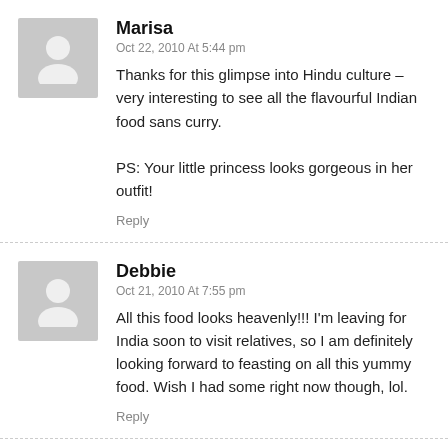[Figure (illustration): Gray avatar placeholder with person silhouette icon]
Marisa
Oct 22, 2010 At 5:44 pm
Thanks for this glimpse into Hindu culture – very interesting to see all the flavourful Indian food sans curry.

PS: Your little princess looks gorgeous in her outfit!
Reply
[Figure (illustration): Gray avatar placeholder with person silhouette icon]
Debbie
Oct 21, 2010 At 7:55 pm
All this food looks heavenly!!! I'm leaving for India soon to visit relatives, so I am definitely looking forward to feasting on all this yummy food. Wish I had some right now though, lol.
Reply
[Figure (illustration): Gray avatar placeholder with person silhouette icon]
Kelly Leigh